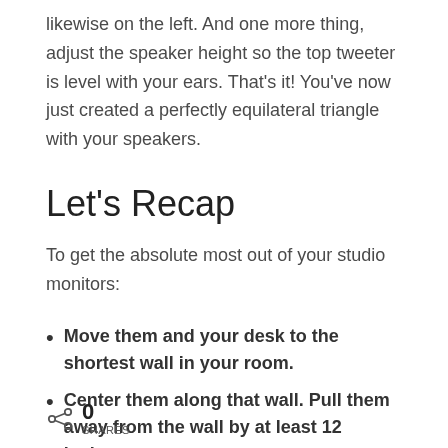likewise on the left. And one more thing, adjust the speaker height so the top tweeter is level with your ears. That's it! You've now just created a perfectly equilateral triangle with your speakers.
Let's Recap
To get the absolute most out of your studio monitors:
Move them and your desk to the shortest wall in your room.
Center them along that wall. Pull them away from the wall by at least 12 inches
0 SHARES